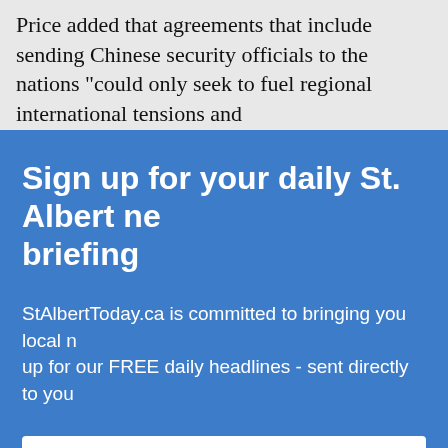Price added that agreements that include sending Chinese security officials to the nations "could only seek to fuel regional international tensions and
Sign up for your daily St. Albert news briefing
StAlbertToday.ca is committed to bringing you local news. Sign up for our FREE daily headlines - sent directly to you
Email address
Don't worry: we won't share your information with anyone, and you
[Figure (illustration): ULINE NOW HIRING advertisement banner. Red ULINE logo on left, black background with NOW HIRING text and WAREHOUSE POSITIONS STARTING FROM $27/HR AND UP, photo of smiling man in red shirt, blue section with uline.jobs URL on right.]